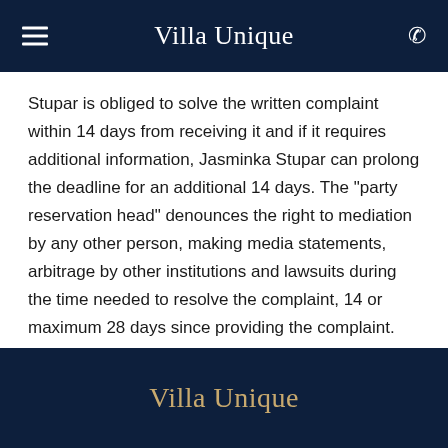Villa Unique
Stupar is obliged to solve the written complaint within 14 days from receiving it and if it requires additional information, Jasminka Stupar can prolong the deadline for an additional 14 days. The "party reservation head" denounces the right to mediation by any other person, making media statements, arbitrage by other institutions and lawsuits during the time needed to resolve the complaint, 14 or maximum 28 days since providing the complaint.
Villa Unique